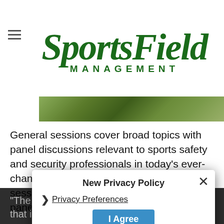[Figure (logo): SportsField Management logo in dark green italic serif font with 'MANAGEMENT' in spaced caps below]
[Figure (photo): Partial photo strip showing an outdoor sports field or turf area]
General sessions cover broad topics with panel discussions relevant to sports safety and security professionals in today's ever-changing landscape, while breakout sessions allow participants to engage with panelists and attendees on key issues.
"The NCS4 provides a conference program that is a must for those involved with sports and special event management and security," said Joe Monroe, University of Kentucky's chief of police. "As we focus on rebounding from a pandemic, now is the time for you to connect with leaders and professionals to share best practices."
[Figure (screenshot): New Privacy Policy modal overlay with Privacy Preferences link and I Agree button]